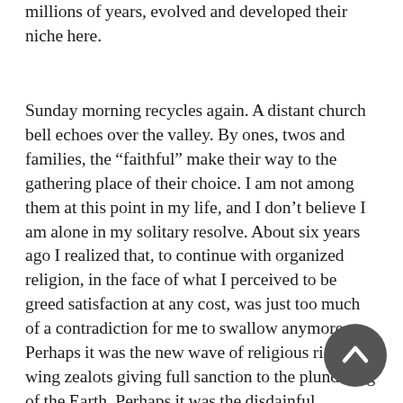millions of years, evolved and developed their niche here.
Sunday morning recycles again. A distant church bell echoes over the valley. By ones, twos and families, the “faithful” make their way to the gathering place of their choice. I am not among them at this point in my life, and I don’t believe I am alone in my solitary resolve. About six years ago I realized that, to continue with organized religion, in the face of what I perceived to be greed satisfaction at any cost, was just too much of a contradiction for me to swallow anymore. Perhaps it was the new wave of religious right-wing zealots giving full sanction to the plundering of the Earth. Perhaps it was the disdainful inflection placed upon the phrase “tree hugger” from various pulpits. (I am a life-